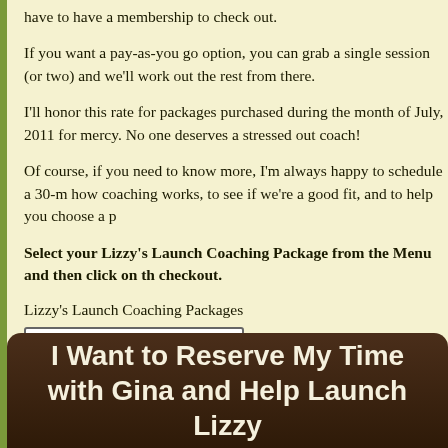have to have a membership to check out.
If you want a pay-as-you go option, you can grab a single session (or two) and we'll work out the rest from there.
I'll honor this rate for packages purchased during the month of July, 2011 for mercy. No one deserves a stressed out coach!
Of course, if you need to know more, I'm always happy to schedule a 30-m how coaching works, to see if we're a good fit, and to help you choose a p
Select your Lizzy's Launch Coaching Package from the Menu and then click on th checkout.
Lizzy's Launch Coaching Packages
1 session $45.00
6 sessions $240.00
12 sessions $450.00
I Want to Reserve My Time with Gina and Help Launch Lizzy